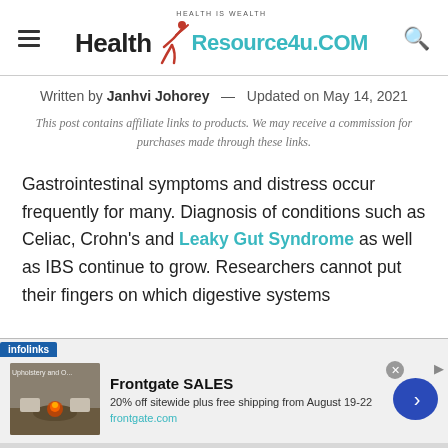[Figure (logo): Health Resource4u.com website logo with tagline 'Health is Wealth', stylized figure icon, and teal/black typography]
Written by Janhvi Johorey   Updated on May 14, 2021
This post contains affiliate links to products. We may receive a commission for purchases made through these links.
Gastrointestinal symptoms and distress occur frequently for many. Diagnosis of conditions such as Celiac, Crohn's and Leaky Gut Syndrome as well as IBS continue to grow. Researchers cannot put their fingers on which digestive systems
[Figure (screenshot): Infolinks advertisement banner for Frontgate SALES: 20% off sitewide plus free shipping from August 19-22, frontgate.com, with outdoor furniture image and blue arrow button]